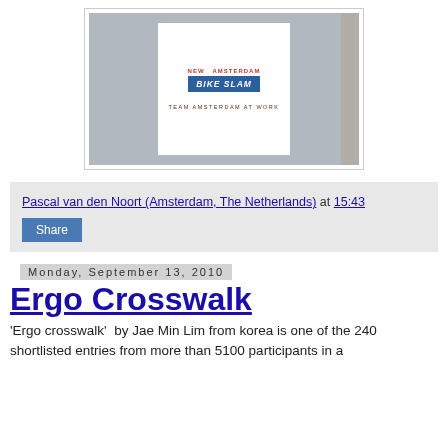[Figure (photo): Photo of a white poster inside a glass-fronted display case. The poster reads 'NEW AMSTERDAM BIKE SLAM' with 'TEAM AMSTERDAM AT WORK' below.]
Pascal van den Noort (Amsterdam, The Netherlands) at 15:43
Share
Monday, September 13, 2010
Ergo Crosswalk
'Ergo crosswalk'  by Jae Min Lim from korea is one of the 240 shortlisted entries from more than 5100 participants in a